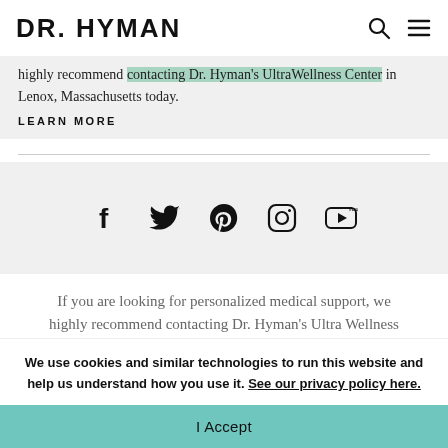DR. HYMAN
highly recommend contacting Dr. Hyman's UltraWellness Center in Lenox, Massachusetts today.
LEARN MORE
[Figure (infographic): Social media icons: Facebook, Twitter, Pinterest, Instagram, YouTube]
If you are looking for personalized medical support, we highly recommend contacting Dr. Hyman's Ultra Wellness Center in L...
We use cookies and similar technologies to run this website and help us understand how you use it. See our privacy policy here.
I Accept